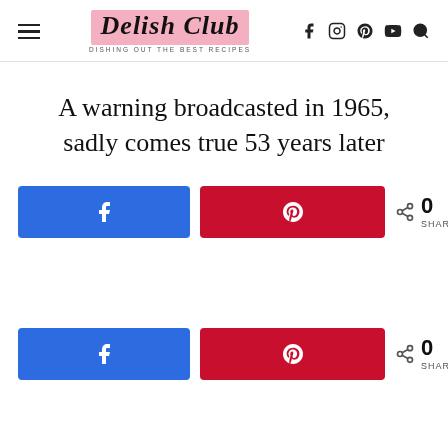Delish Club — DISHING OUT THE BEST RECIPES
A warning broadcasted in 1965, sadly comes true 53 years later
[Figure (other): Facebook share button (blue) and Pinterest share button (red), with share count showing 0 SHARES]
[Figure (other): Facebook share button (blue) and Pinterest share button (red), with share count showing 0 SHARES (second row)]